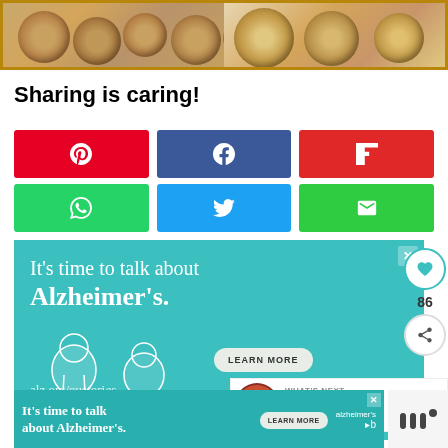[Figure (photo): Two photos of cookies/baked goods side by side]
Sharing is caring!
[Figure (infographic): Social share buttons: Pinterest (red), Facebook (dark blue), Flipboard (red), WhatsApp (green), Twitter (blue), Email (green)]
[Figure (other): Alzheimer's Association advertisement: 'It's time to talk about Alzheimer's.' with LEARN MORE button and alz.org/ourstories URL]
86
WHAT'S NEXT → How to Make Keto...
[Figure (other): Second smaller Alzheimer's Association ad: 'It's time to talk about Alzheimer's.' with LEARN MORE button and association logo]